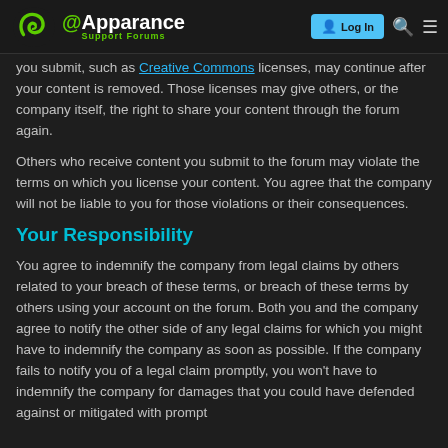Apparance Support Forums — Log In
you submit, such as Creative Commons licenses, may continue after your content is removed. Those licenses may give others, or the company itself, the right to share your content through the forum again.
Others who receive content you submit to the forum may violate the terms on which you license your content. You agree that the company will not be liable to you for those violations or their consequences.
Your Responsibility
You agree to indemnify the company from legal claims by others related to your breach of these terms, or breach of these terms by others using your account on the forum. Both you and the company agree to notify the other side of any legal claims for which you might have to indemnify the company as soon as possible. If the company fails to notify you of a legal claim promptly, you won't have to indemnify the company for damages that you could have defended against or mitigated with prompt